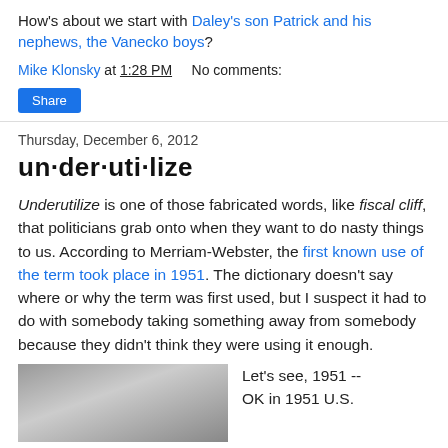How's about we start with Daley's son Patrick and his nephews, the Vanecko boys?
Mike Klonsky at 1:28 PM   No comments:
Share
Thursday, December 6, 2012
un·der·uti·lize
Underutilize is one of those fabricated words, like fiscal cliff, that politicians grab onto when they want to do nasty things to us. According to Merriam-Webster, the first known use of the term took place in 1951. The dictionary doesn't say where or why the term was first used, but I suspect it had to do with somebody taking something away from somebody because they didn't think they were using it enough.
[Figure (photo): Grayscale photograph, partially visible at bottom of page]
Let's see, 1951 -- OK in 1951 U.S.